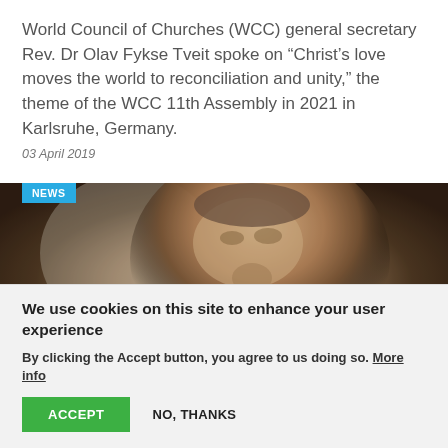World Council of Churches (WCC) general secretary Rev. Dr Olav Fykse Tveit spoke on “Christ’s love moves the world to reconciliation and unity,” the theme of the WCC 11th Assembly in 2021 in Karlsruhe, Germany.
03 April 2019
[Figure (photo): Close-up photo of an elderly man's face and neck, partially visible, with a blurred background. A cyan 'NEWS' badge is overlaid at the top left of the image.]
We use cookies on this site to enhance your user experience
By clicking the Accept button, you agree to us doing so. More info
ACCEPT    NO, THANKS